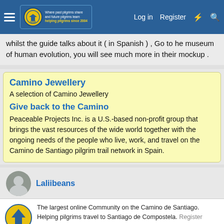Navigation bar with hamburger menu, IVAR logo, Log in, Register links and icons
whilst the guide talks about it ( in Spanish ) , Go to he museum of human evolution, you will see much more in their mockup .
Camino Jewellery
A selection of Camino Jewellery
Give back to the Camino
Peaceable Projects Inc. is a U.S.-based non-profit group that brings the vast resources of the wide world together with the ongoing needs of the people who live, work, and travel on the Camino de Santiago pilgrim trail network in Spain.
Laliibeans
The largest online Community on the Camino de Santiago. Helping pilgrims travel to Santiago de Compostela. Register (free) or Log in to join.